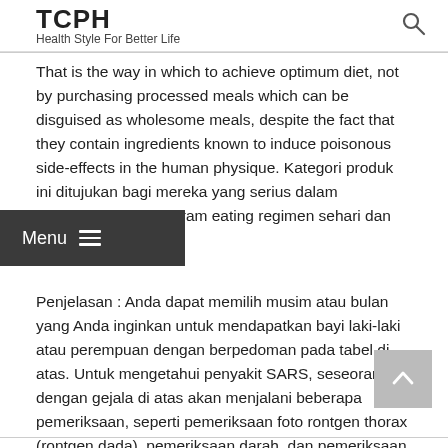TCPH — Health Style For Better Life
That is the way in which to achieve optimum diet, not by purchasing processed meals which can be disguised as wholesome meals, despite the fact that they contain ingredients known to induce poisonous side-effects in the human physique. Kategori produk ini ditujukan bagi mereka yang serius dalam memonitor hasil program eating regimen sehari dan olah raga teratur.
Penjelasan : Anda dapat memilih musim atau bulan yang Anda inginkan untuk mendapatkan bayi laki-laki atau perempuan dengan berpedoman pada tabel di atas. Untuk mengetahui penyakit SARS, seseorang dengan gejala di atas akan menjalani beberapa pemeriksaan, seperti pemeriksaan foto rontgen thorax (rontgen dada), pemeriksaan darah, dan pemeriksaan virus.... Read More...